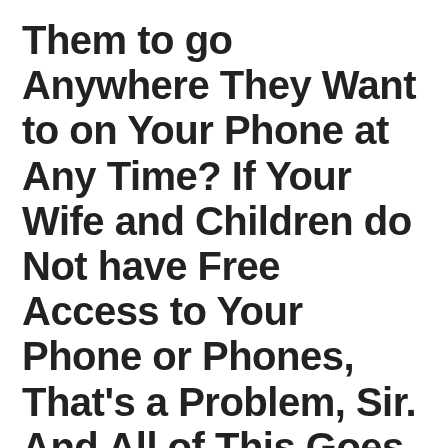Them to go Anywhere They Want to on Your Phone at Any Time? If Your Wife and Children do Not have Free Access to Your Phone or Phones, That's a Problem, Sir. And All of This Goes For So-called Female Pastors and Church Leaders. (See